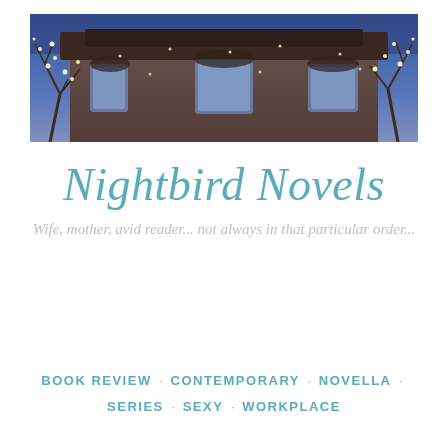[Figure (photo): Night-time photo of an ornate historic building decorated with twinkling string lights on bare trees against a deep blue sky]
Nightbird Novels
Wife, mother, avid reader... not always in that particular order...
≡ MENU
BOOK REVIEW · CONTEMPORARY · NOVELLA · SERIES · SEXY · WORKPLACE